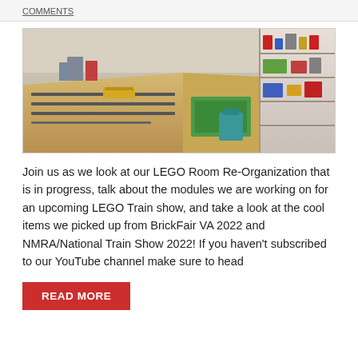COMMENTS
[Figure (photo): Wide-angle view of a LEGO train room with multiple train tracks on wooden tables, LEGO city builds, shelving units filled with LEGO sets, and a teal chair visible in the background.]
Join us as we look at our LEGO Room Re-Organization that is in progress, talk about the modules we are working on for an upcoming LEGO Train show, and take a look at the cool items we picked up from BrickFair VA 2022 and NMRA/National Train Show 2022! If you haven't subscribed to our YouTube channel make sure to head
READ MORE